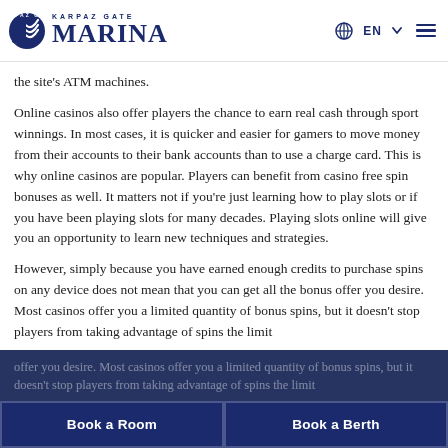KARPAZ GATE MARINA — EN
the site's ATM machines.
Online casinos also offer players the chance to earn real cash through sport winnings. In most cases, it is quicker and easier for gamers to move money from their accounts to their bank accounts than to use a charge card. This is why online casinos are popular. Players can benefit from casino free spin bonuses as well. It matters not if you're just learning how to play slots or if you have been playing slots for many decades. Playing slots online will give you an opportunity to learn new techniques and strategies.
However, simply because you have earned enough credits to purchase spins on any device does not mean that you can get all the bonus offer you desire. Most casinos offer you a limited quantity of bonus spins, but it doesn't stop players from taking advantage of spins the limit
Book a Room  Book a Berth